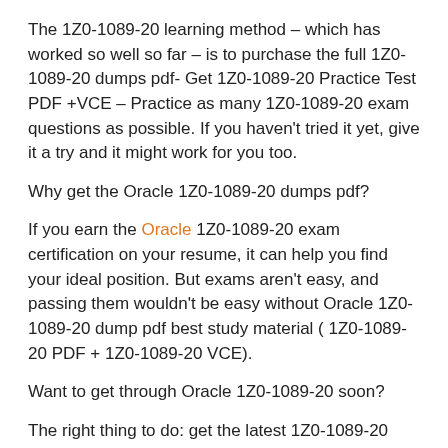The 1Z0-1089-20 learning method – which has worked so well so far – is to purchase the full 1Z0-1089-20 dumps pdf- Get 1Z0-1089-20 Practice Test PDF +VCE – Practice as many 1Z0-1089-20 exam questions as possible. If you haven't tried it yet, give it a try and it might work for you too.
Why get the Oracle 1Z0-1089-20 dumps pdf?
If you earn the Oracle 1Z0-1089-20 exam certification on your resume, it can help you find your ideal position. But exams aren't easy, and passing them wouldn't be easy without Oracle 1Z0-1089-20 dump pdf best study material ( 1Z0-1089-20 PDF + 1Z0-1089-20 VCE).
Want to get through Oracle 1Z0-1089-20 soon?
The right thing to do: get the latest 1Z0-1089-20 dumps pdf, practice exam questions as much as